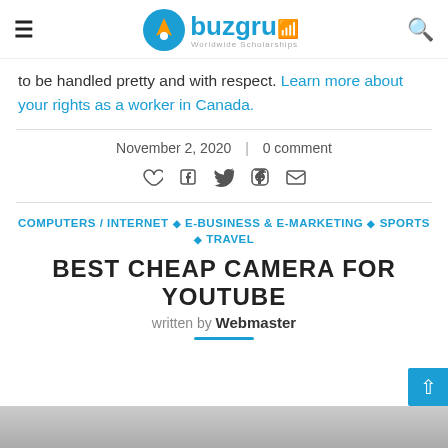buzgru - Worldwide Scholarships
to be handled pretty and with respect. Learn more about your rights as a worker in Canada.
November 2, 2020  |  0 comment
[Figure (other): Social sharing icons: heart, facebook, twitter, pinterest, email]
COMPUTERS / INTERNET ◆ E-BUSINESS & E-MARKETING ◆ SPORTS ◆ TRAVEL
BEST CHEAP CAMERA FOR YOUTUBE
written by Webmaster